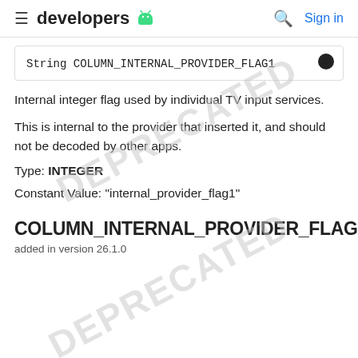≡ developers 🤖  🔍  Sign in
String COLUMN_INTERNAL_PROVIDER_FLAG1
Internal integer flag used by individual TV input services.
This is internal to the provider that inserted it, and should not be decoded by other apps.
Type: INTEGER
Constant Value: "internal_provider_flag1"
COLUMN_INTERNAL_PROVIDER_FLAG2
added in version 26.1.0